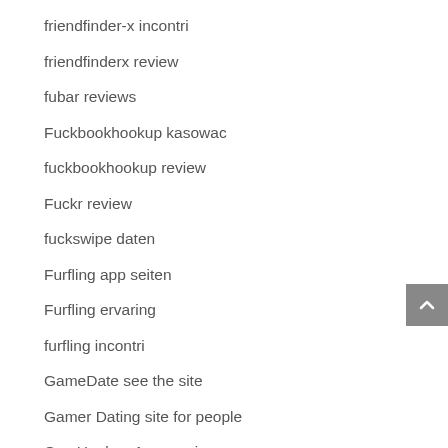friendfinder-x incontri
friendfinderx review
fubar reviews
Fuckbookhookup kasowac
fuckbookhookup review
Fuckr review
fuckswipe daten
Furfling app seiten
Furfling ervaring
furfling incontri
GameDate see the site
Gamer Dating site for people
Gay Hookup Apps review
gay hookup review
gaydar review